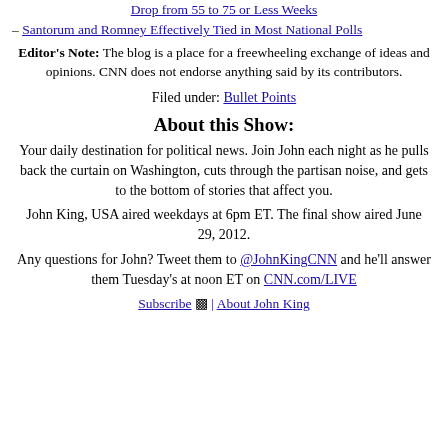Drop from 55 to 75 or Less Weeks
– Santorum and Romney Effectively Tied in Most National Polls
Editor's Note: The blog is a place for a freewheeling exchange of ideas and opinions. CNN does not endorse anything said by its contributors.
Filed under: Bullet Points
About this Show:
Your daily destination for political news. Join John each night as he pulls back the curtain on Washington, cuts through the partisan noise, and gets to the bottom of stories that affect you.
John King, USA aired weekdays at 6pm ET. The final show aired June 29, 2012.
Any questions for John? Tweet them to @JohnKingCNN and he'll answer them Tuesday's at noon ET on CNN.com/LIVE
Subscribe | About John King